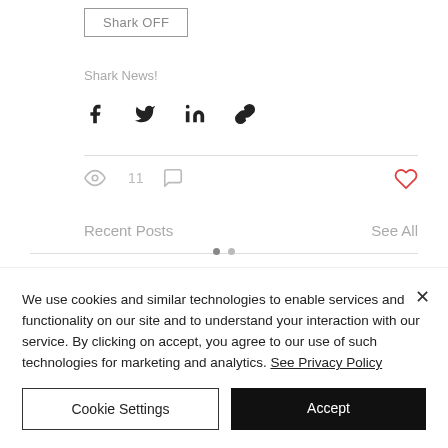Shark OFF
Shark News!
[Figure (other): Social share icons: Facebook, Twitter, LinkedIn, link/chain]
[Figure (other): Post stats: eye icon with count 11, comment icon; heart/like icon on right]
Recent Posts
See All
We use cookies and similar technologies to enable services and functionality on our site and to understand your interaction with our service. By clicking on accept, you agree to our use of such technologies for marketing and analytics. See Privacy Policy
Cookie Settings
Accept